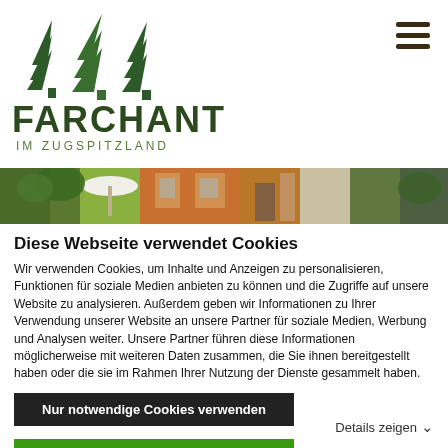[Figure (logo): Farchant im Zugspitzland logo with stylized pine trees in dark green above the text FARCHANT in large bold dark green letters and IM ZUGSPITZLAND in smaller spaced letters below]
[Figure (photo): Horizontal panoramic photo strip showing outdoor scenes with plants, a white umbrella, orange/terracotta building facades, doorways, and green vegetation]
Diese Webseite verwendet Cookies
Wir verwenden Cookies, um Inhalte und Anzeigen zu personalisieren, Funktionen für soziale Medien anbieten zu können und die Zugriffe auf unsere Website zu analysieren. Außerdem geben wir Informationen zu Ihrer Verwendung unserer Website an unsere Partner für soziale Medien, Werbung und Analysen weiter. Unsere Partner führen diese Informationen möglicherweise mit weiteren Daten zusammen, die Sie ihnen bereitgestellt haben oder die sie im Rahmen Ihrer Nutzung der Dienste gesammelt haben.
Nur notwendige Cookies verwenden
Cookies zulassen
Details zeigen